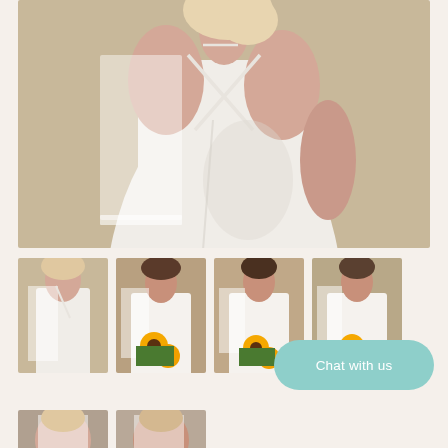[Figure (photo): Back view of a bride wearing a white satin slip dress with cross-back spaghetti straps and a short sheer veil, set against a warm beige background.]
[Figure (photo): Thumbnail: Side view of a bride in white satin slip dress with sheer veil, beige background.]
[Figure (photo): Thumbnail: Bride with veil holding a sunflower bouquet, looking down, white strapless gown, warm background.]
[Figure (photo): Thumbnail: Bride with veil holding a sunflower bouquet, facing forward, white strapless gown.]
[Figure (photo): Thumbnail: Bride with veil and sunflower bouquet, partial view, with 'Chat with us' button overlay.]
[Figure (photo): Thumbnail row 2: Partial view of bride with veil, close-up.]
[Figure (photo): Thumbnail row 2: Partial view of bride with veil, close-up.]
Chat with us